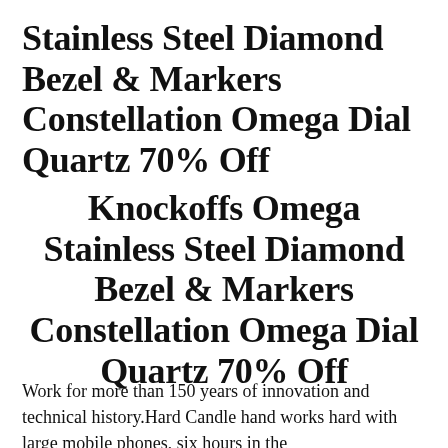Stainless Steel Diamond Bezel & Markers Constellation Omega Dial Quartz 70% Off
Knockoffs Omega Stainless Steel Diamond Bezel & Markers Constellation Omega Dial Quartz 70% Off
Work for more than 150 years of innovation and technical history.Hard Candle hand works hard with large mobile phones, six hours in the